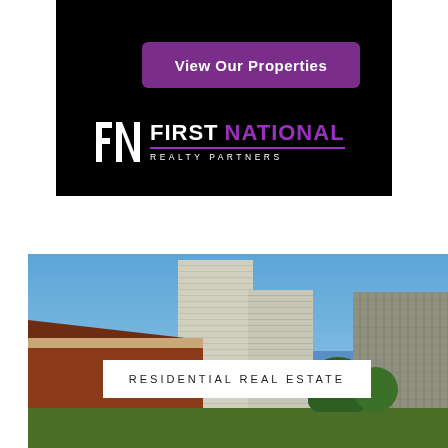[Figure (logo): First National Realty Partners advertisement banner on black background with 'View Our Properties' purple button and First National Realty Partners logo in white and purple]
[Figure (photo): Residential real estate photo showing brick house in foreground with high-rise apartment buildings behind against blue sky, with 'RESIDENTIAL REAL ESTATE' text overlay]